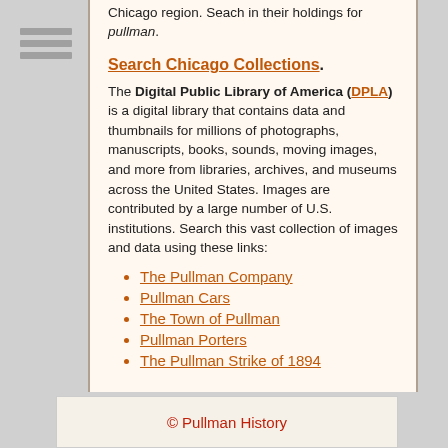[Figure (other): Hamburger menu icon with three horizontal bars]
Chicago region. Seach in their holdings for pullman.
Search Chicago Collections.
The Digital Public Library of America (DPLA) is a digital library that contains data and thumbnails for millions of photographs, manuscripts, books, sounds, moving images, and more from libraries, archives, and museums across the United States. Images are contributed by a large number of U.S. institutions. Search this vast collection of images and data using these links:
The Pullman Company
Pullman Cars
The Town of Pullman
Pullman Porters
The Pullman Strike of 1894
© Pullman History